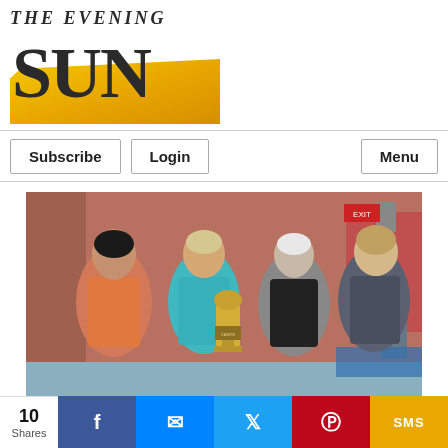[Figure (logo): The Evening Sun newspaper logo with large bold SUN text over a yellow/gold diagonal shape]
Subscribe | Login | Menu
[Figure (photo): Four women posing together indoors, one holding a large trophy. They are smiling. Background shows a brick wall and gym equipment.]
Holly Crouch: Competitive canoeing with a passion
CHENANGO COUNTY — Holly Crouch, a retired
10 Shares | Facebook | Messenger | Twitter | Pinterest | SMS